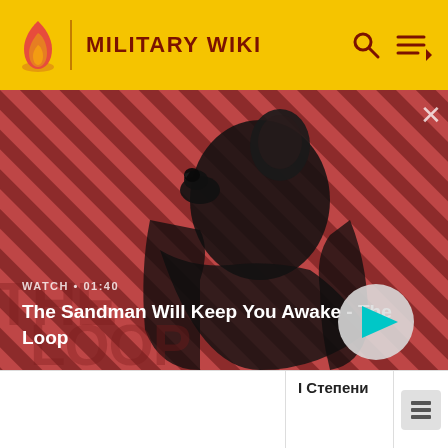MILITARY WIKI
[Figure (screenshot): Video banner showing a dark-robed man with a crow on his shoulder against a red and black diagonal striped background. Text overlay: WATCH • 01:40 / The Sandman Will Keep You Awake - The Loop]
WATCH • 01:40
The Sandman Will Keep You Awake - The Loop
І Степени